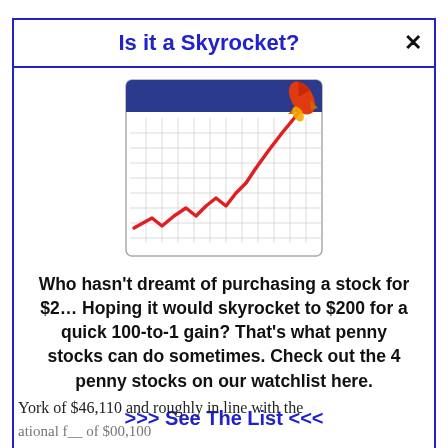Is it a Skyrocket?
[Figure (illustration): Calendar/chart icon with a red upward-trending line chart overlaid on a grid, with a rocket launching from the top right corner.]
Who hasn't dreamt of purchasing a stock for $2… Hoping it would skyrocket to $200 for a quick 100-to-1 gain? That's what penny stocks can do sometimes. Check out the 4 penny stocks on our watchlist here.
>>> See The List <<<
York of $46,110 and roughly in line with the